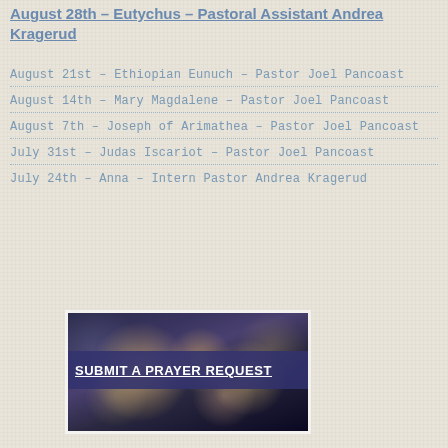August 28th – Eutychus – Pastoral Assistant Andrea Kragerud
August 21st – Ethiopian Eunuch – Pastor Joel Pancoast
August 14th – Mary Magdalene – Pastor Joel Pancoast
August 7th – Joseph of Arimathea – Pastor Joel Pancoast
July 31st – Judas Iscariot – Pastor Joel Pancoast
July 24th – Anna – Intern Pastor Andrea Kragerud
[Figure (illustration): Bokeh lights background image with a dark blue/purple background and glowing circular lights in warm gold/yellow tones. Overlaid with a dark blue banner containing the text SUBMIT A PRAYER REQUEST.]